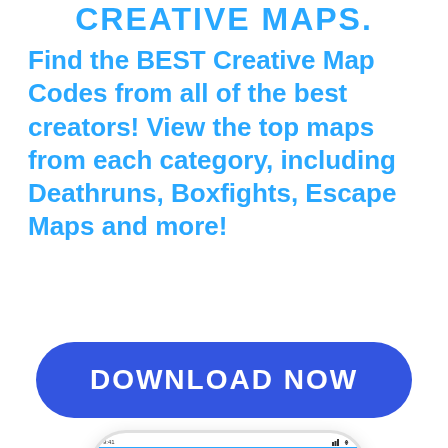CREATIVE MAPS.
Find the BEST Creative Map Codes from all of the best creators! View the top maps from each category, including Deathruns, Boxfights, Escape Maps and more!
[Figure (screenshot): A blue rounded rectangle button with white uppercase text reading 'DOWNLOAD NOW']
[Figure (screenshot): A smartphone mockup showing an app screen with a blue header bar labeled 'wheel' and a hamburger menu icon, with the app content showing a partial logo below.]